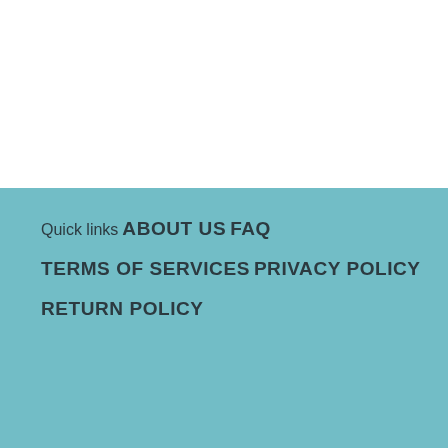Quick links
ABOUT US
FAQ
TERMS OF SERVICES
PRIVACY POLICY
RETURN POLICY